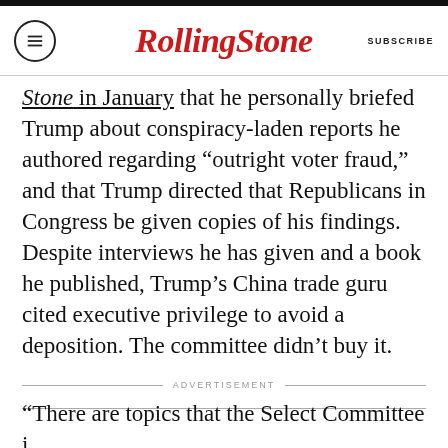Rolling Stone | SUBSCRIBE
Stone in January that he personally briefed Trump about conspiracy-laden reports he authored regarding “outright voter fraud,” and that Trump directed that Republicans in Congress be given copies of his findings. Despite interviews he has given and a book he published, Trump’s China trade guru cited executive privilege to avoid a deposition. The committee didn’t buy it.
"There are topics that the Select Committee i…